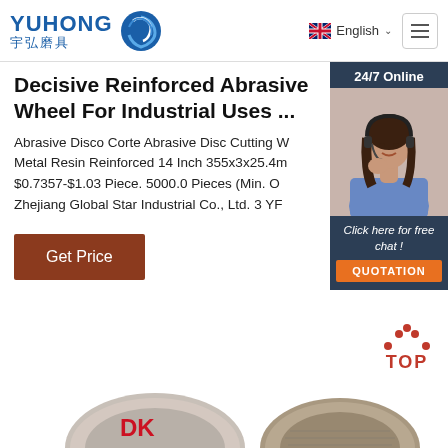YUHONG 宇弘磨具 | English
Decisive Reinforced Abrasive Wheel For Industrial Uses ...
Abrasive Disco Corte Abrasive Disc Cutting W Metal Resin Reinforced 14 Inch 355x3x25.4m $0.7357-$1.03 Piece. 5000.0 Pieces (Min. O Zhejiang Global Star Industrial Co., Ltd. 3 YF
Get Price
[Figure (screenshot): Customer service chat widget with '24/7 Online' header, photo of smiling woman with headset, 'Click here for free chat!' text, and orange QUOTATION button]
[Figure (other): Red dotted arc and TOP text forming a scroll-to-top button]
[Figure (other): Bottom of page showing two abrasive wheel/disc products partially visible]